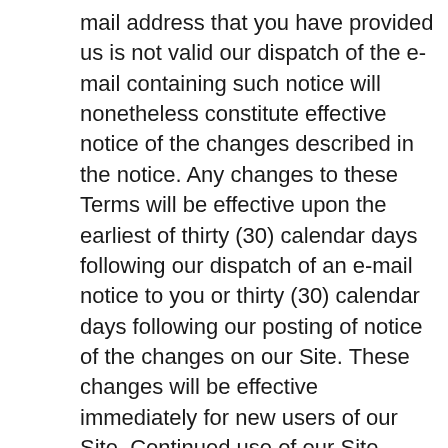mail address that you have provided us is not valid our dispatch of the e-mail containing such notice will nonetheless constitute effective notice of the changes described in the notice. Any changes to these Terms will be effective upon the earliest of thirty (30) calendar days following our dispatch of an e-mail notice to you or thirty (30) calendar days following our posting of notice of the changes on our Site. These changes will be effective immediately for new users of our Site. Continued use of our Site following notice of such changes shall indicate your acknowledgement of such changes and agreement to be bound by the terms and conditions of such